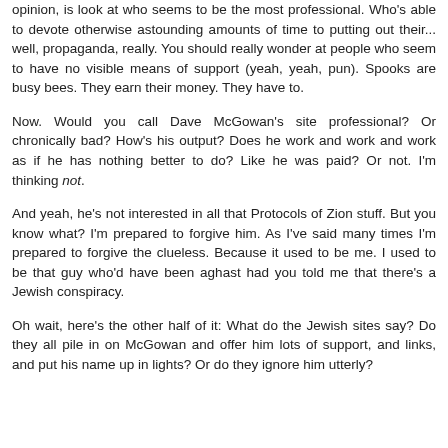opinion, is look at who seems to be the most professional. Who's able to devote otherwise astounding amounts of time to putting out their... well, propaganda, really. You should really wonder at people who seem to have no visible means of support (yeah, yeah, pun). Spooks are busy bees. They earn their money. They have to.
Now. Would you call Dave McGowan's site professional? Or chronically bad? How's his output? Does he work and work and work as if he has nothing better to do? Like he was paid? Or not. I'm thinking not.
And yeah, he's not interested in all that Protocols of Zion stuff. But you know what? I'm prepared to forgive him. As I've said many times I'm prepared to forgive the clueless. Because it used to be me. I used to be that guy who'd have been aghast had you told me that there's a Jewish conspiracy.
Oh wait, here's the other half of it: What do the Jewish sites say? Do they all pile in on McGowan and offer him lots of support, and links, and put his name up in lights? Or do they ignore him utterly?